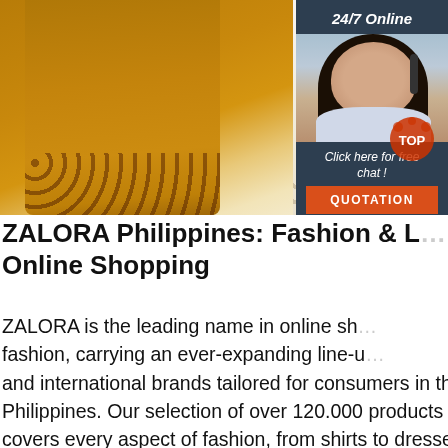[Figure (photo): Close-up photo of two skirts hanging — a golden/mustard skirt with laser-cut floral lace hem on the left, and a cream/white skirt with lace trim on the right. A customer service chat widget overlay appears on the right side showing a woman with a headset, '24/7 Online' header, 'Click here for free chat!' text, and an orange 'QUOTATION' button.]
ZALORA Philippines: Fashion & L... Online Shopping
ZALORA is the leading name in online sh... fashion, carrying an ever-expanding line-u... and international brands tailored for consumers in the Philippines. Our selection of over 120.000 products covers every aspect of fashion, from shirts to dresses, sneakers to slip-ons, sportswear to watches, and so much more.